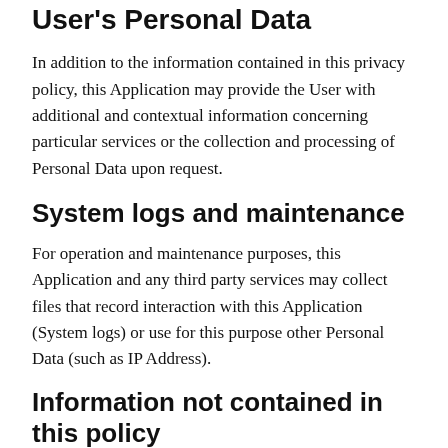User's Personal Data
In addition to the information contained in this privacy policy, this Application may provide the User with additional and contextual information concerning particular services or the collection and processing of Personal Data upon request.
System logs and maintenance
For operation and maintenance purposes, this Application and any third party services may collect files that record interaction with this Application (System logs) or use for this purpose other Personal Data (such as IP Address).
Information not contained in this policy
More details concerning the collection or